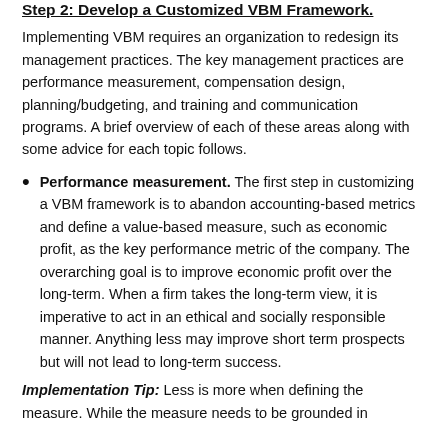Step 2: Develop a Customized VBM Framework.
Implementing VBM requires an organization to redesign its management practices. The key management practices are performance measurement, compensation design, planning/budgeting, and training and communication programs. A brief overview of each of these areas along with some advice for each topic follows.
Performance measurement. The first step in customizing a VBM framework is to abandon accounting-based metrics and define a value-based measure, such as economic profit, as the key performance metric of the company. The overarching goal is to improve economic profit over the long-term. When a firm takes the long-term view, it is imperative to act in an ethical and socially responsible manner. Anything less may improve short term prospects but will not lead to long-term success.
Implementation Tip: Less is more when defining the measure. While the measure needs to be grounded in